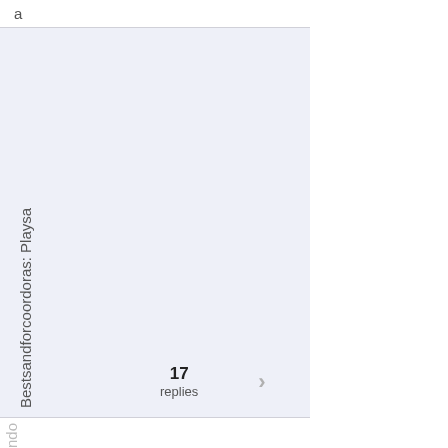a
Bestsandforcoordoras: Playsando
17 replies